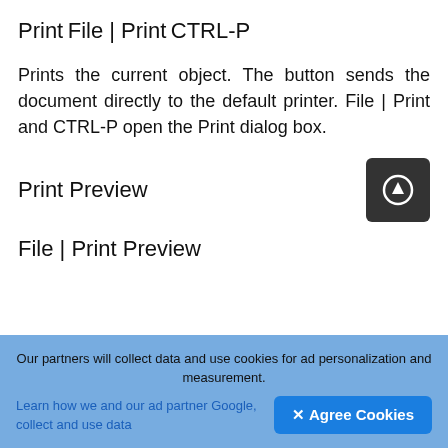Print
File | Print
CTRL-P
Prints the current object. The button sends the document directly to the default printer. File | Print and CTRL-P open the Print dialog box.
Print Preview
[Figure (illustration): Dark rounded square button icon with a circle containing an upward arrow, representing a print preview or upload button.]
File | Print Preview
Our partners will collect data and use cookies for ad personalization and measurement. Learn how we and our ad partner Google, collect and use data
✕ Agree Cookies